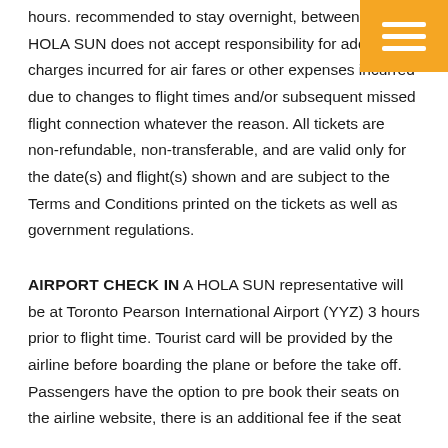hours. recommended to stay overnight between flights. HOLA SUN does not accept responsibility for additional charges incurred for air fares or other expenses incurred due to changes to flight times and/or subsequent missed flight connection whatever the reason. All tickets are non-refundable, non-transferable, and are valid only for the date(s) and flight(s) shown and are subject to the Terms and Conditions printed on the tickets as well as government regulations.
AIRPORT CHECK IN A HOLA SUN representative will be at Toronto Pearson International Airport (YYZ) 3 hours prior to flight time. Tourist card will be provided by the airline before boarding the plane or before the take off. Passengers have the option to pre book their seats on the airline website, there is an additional fee if the seat